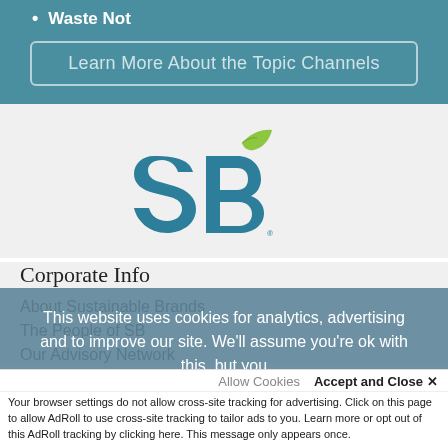Waste Not
Learn More About the Topic Channels
[Figure (logo): Sustainable Brands SB logo with green leaf]
Corporate Info
About Sustainable Brands
The People of SB
Our Advisory Network
This website uses cookies for analytics, advertising and to improve our site. We'll assume you're ok with this, but you
Allow Cookies   Accept and Close ×
Your browser settings do not allow cross-site tracking for advertising. Click on this page to allow AdRoll to use cross-site tracking to tailor ads to you. Learn more or opt out of this AdRoll tracking by clicking here. This message only appears once.